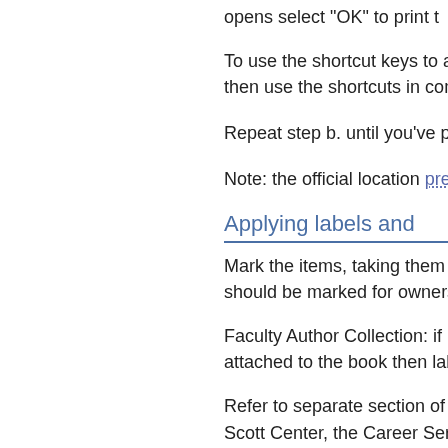opens select "OK" to print t
To use the shortcut keys to add then use the shortcuts in comb
Repeat step b. until you've pro
Note: the official location prefix
Applying labels and
Mark the items, taking them fro should be marked for ownershi
Faculty Author Collection: if ha attached to the book then label
Refer to separate section of the Scott Center, the Career Servic
See separate secton in this ma
1. place the appropriate b have a gift book plate a